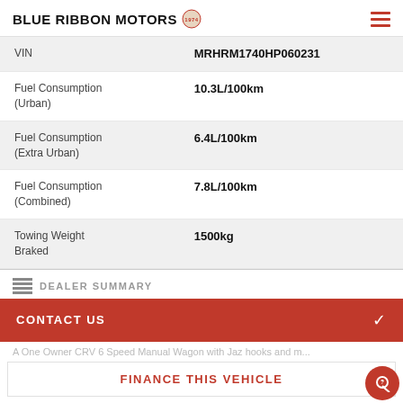BLUE RIBBON MOTORS
| Specification | Value |
| --- | --- |
| VIN | MRHRM1740HP060231 |
| Fuel Consumption (Urban) | 10.3L/100km |
| Fuel Consumption (Extra Urban) | 6.4L/100km |
| Fuel Consumption (Combined) | 7.8L/100km |
| Towing Weight Braked | 1500kg |
DEALER SUMMARY
CONTACT US
A One Owner CRV 6 Speed Manual Wagon with Jaz hooks and m...
FINANCE THIS VEHICLE